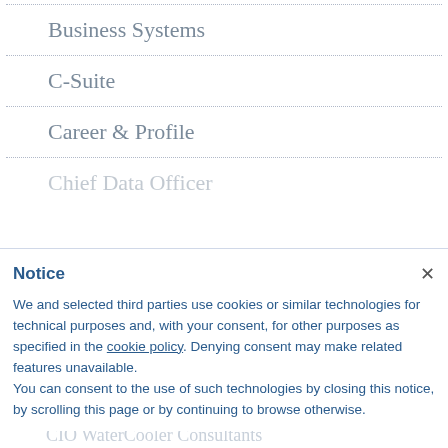Business Systems
C-Suite
Career & Profile
Chief Data Officer
CIO Role
CIOWatercooler
CIO WaterCooler Consultants
Notice
We and selected third parties use cookies or similar technologies for technical purposes and, with your consent, for other purposes as specified in the cookie policy. Denying consent may make related features unavailable.
You can consent to the use of such technologies by closing this notice, by scrolling this page or by continuing to browse otherwise.